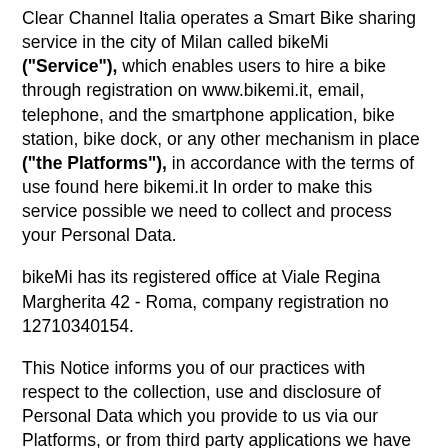Clear Channel Italia operates a Smart Bike sharing service in the city of Milan called bikeMi ("Service"), which enables users to hire a bike through registration on www.bikemi.it, email, telephone, and the smartphone application, bike station, bike dock, or any other mechanism in place ("the Platforms"), in accordance with the terms of use found here bikemi.it In order to make this service possible we need to collect and process your Personal Data.
bikeMi has its registered office at Viale Regina Margherita 42 - Roma, company registration no 12710340154.
This Notice informs you of our practices with respect to the collection, use and disclosure of Personal Data which you provide to us via our Platforms, or from third party applications we have engaged to make the Service work effectively.
It also describes your data protection rights, including